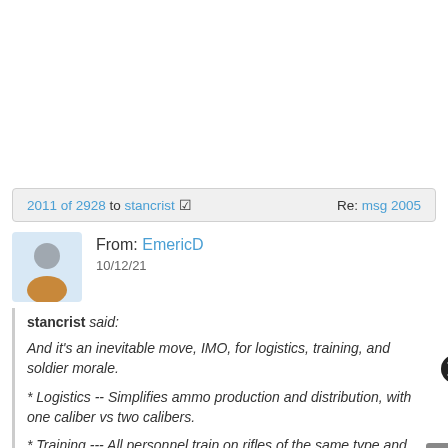2011 of 2928 to stancrist ✓    Re: msg 2005
From: EmericD
10/12/21
stancrist said:
And it's an inevitable move, IMO, for logistics, training, and soldier morale.
* Logistics -- Simplifies ammo production and distribution, with one caliber vs two calibers.
* Training --- All personnel train on rifles of the same type and caliber.